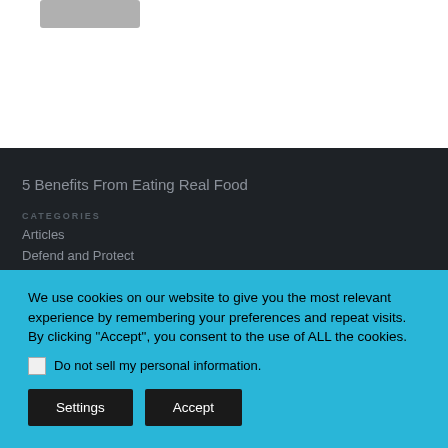[Figure (other): Gray placeholder bar/logo in top white section]
5 Benefits From Eating Real Food
CATEGORIES
Articles
Defend and Protect
We use cookies on our website to give you the most relevant experience by remembering your preferences and repeat visits. By clicking "Accept", you consent to the use of ALL the cookies.
Do not sell my personal information.
Settings
Accept